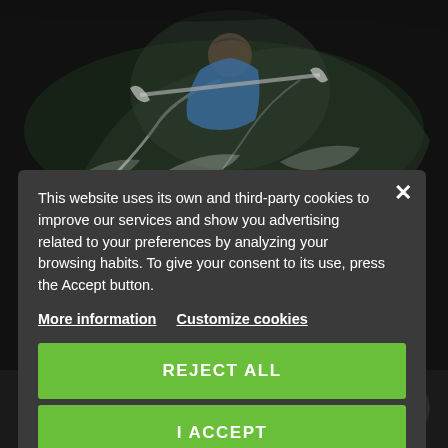[Figure (photo): Kayaker paddling through white water rapids, wearing a blue jacket and cap, with water splashing around, on a dark background]
This website uses its own and third-party cookies to improve our services and show you advertising related to your preferences by analyzing your browsing habits. To give your consent to its use, press the Accept button.
More information
Customize cookies
REJECT ALL
I ACCEPT
MORE INFORMATION